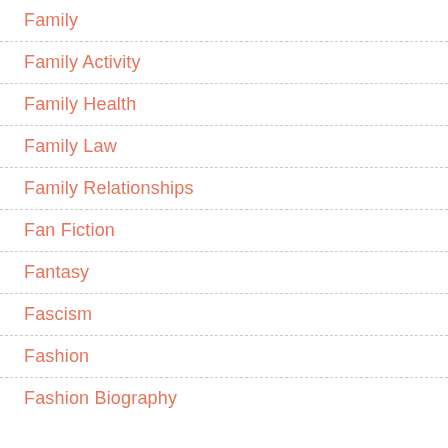Family
Family Activity
Family Health
Family Law
Family Relationships
Fan Fiction
Fantasy
Fascism
Fashion
Fashion Biography